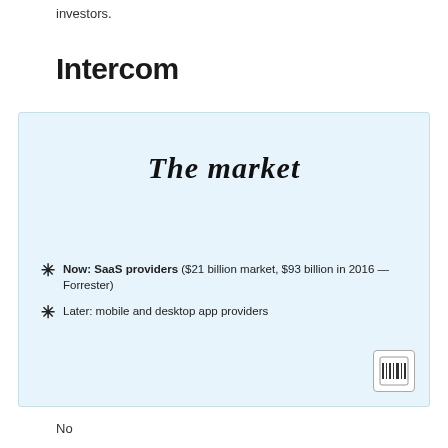investors.
Intercom
[Figure (infographic): Light blue slide box with handwritten-style title 'The market' and two bullet points: 'Now: SaaS providers ($21 billion market, $93 billion in 2016 — Forrester)' and 'Later: mobile and desktop app providers'. Amazon barcode logo in bottom right corner.]
No